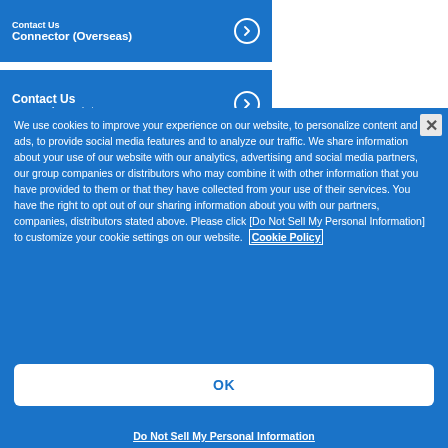Contact Us
Connector (Overseas)
Contact Us
User Interface Solutions
We use cookies to improve your experience on our website, to personalize content and ads, to provide social media features and to analyze our traffic. We share information about your use of our website with our analytics, advertising and social media partners, our group companies or distributors who may combine it with other information that you have provided to them or that they have collected from your use of their services. You have the right to opt out of our sharing information about you with our partners, companies, distributors stated above. Please click [Do Not Sell My Personal Information] to customize your cookie settings on our website. Cookie Policy
OK
Do Not Sell My Personal Information